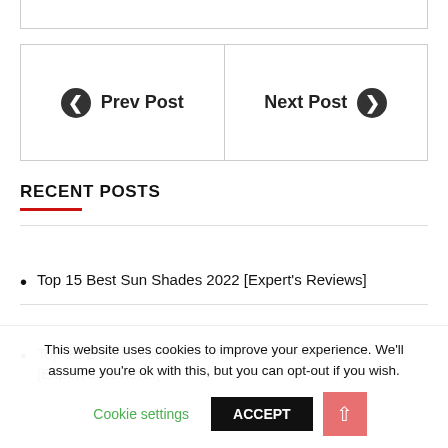Prev Post   Next Post
RECENT POSTS
Top 15 Best Sun Shades 2022 [Expert's Reviews]
Top 20 Best Painless Blood Glucose Meters 2022 [Expert's Reviews]
This website uses cookies to improve your experience. We'll assume you're ok with this, but you can opt-out if you wish. Cookie settings ACCEPT